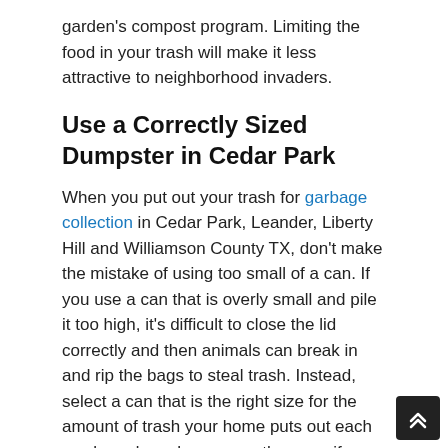garden's compost program. Limiting the food in your trash will make it less attractive to neighborhood invaders.
Use a Correctly Sized Dumpster in Cedar Park
When you put out your trash for garbage collection in Cedar Park, Leander, Liberty Hill and Williamson County TX, don't make the mistake of using too small of a can. If you use a can that is overly small and pile it too high, it's difficult to close the lid correctly and then animals can break in and rip the bags to steal trash. Instead, select a can that is the right size for the amount of trash your home puts out each week, and purchase more than one if necessary. Then you can be sure that the lids are on the cans each week to keep out unwelcome visitors.
Double-Buy Your Trash...